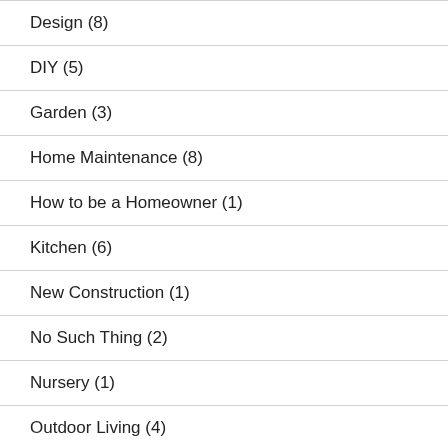Design (8)
DIY (5)
Garden (3)
Home Maintenance (8)
How to be a Homeowner (1)
Kitchen (6)
New Construction (1)
No Such Thing (2)
Nursery (1)
Outdoor Living (4)
Pool (2)